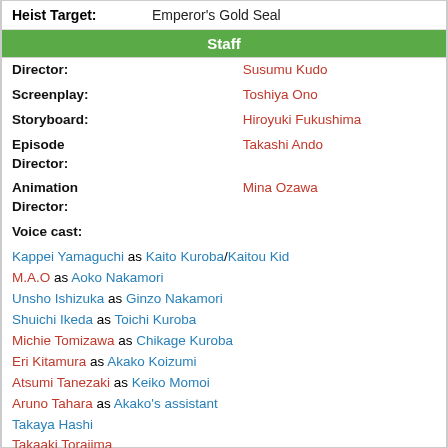| Heist Target: | Emperor's Gold Seal |
| Staff |  |
| Director: | Susumu Kudo |
| Screenplay: | Toshiya Ono |
| Storyboard: | Hiroyuki Fukushima |
| Episode Director: | Takashi Ando |
| Animation Director: | Mina Ozawa |
| Voice cast: | Kappei Yamaguchi as Kaito Kuroba/Kaitou Kid |
|  | M.A.O as Aoko Nakamori |
|  | Unsho Ishizuka as Ginzo Nakamori |
|  | Shuichi Ikeda as Toichi Kuroba |
|  | Michie Tomizawa as Chikage Kuroba |
|  | Eri Kitamura as Akako Koizumi |
|  | Atsumi Tanezaki as Keiko Momoi |
|  | Aruno Tahara as Akako's assistant |
|  | Takaya Hashi |
|  | Takaaki Torajima |
|  | Yuu Amano |
|  | Kanehira Yamamoto |
|  | Takehiro Hasu |
|  | Naoto Kobayashi |